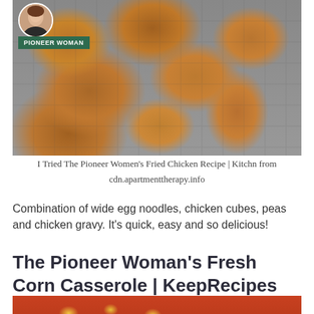[Figure (photo): Fried chicken pieces on a wire rack cooling tray, golden brown and crispy, with a Pioneer Woman badge and avatar in the top left corner]
I Tried The Pioneer Women's Fried Chicken Recipe | Kitchn from
cdn.apartmenttherapy.info
Combination of wide egg noodles, chicken cubes, peas and chicken gravy. It's quick, easy and so delicious!
The Pioneer Woman's Fresh Corn Casserole | KeepRecipes
[Figure (photo): Bottom portion of a casserole dish with corn kernels visible, red baking dish]